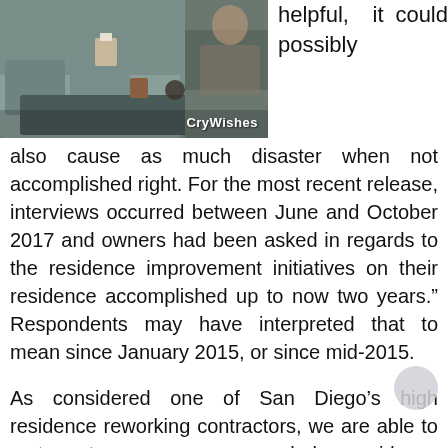[Figure (photo): A living room scene with a couch, tissue box, and decor items on a coffee table. Watermark 'CryWishes' in bottom right.]
helpful, it could possibly also cause as much disaster when not accomplished right. For the most recent release, interviews occurred between June and October 2017 and owners had been asked in regards to the residence improvement initiatives on their residence accomplished up to now two years." Respondents may have interpreted that to mean since January 2015, or since mid-2015.
As considered one of San Diego's high residence reworking contractors, we are able to sort out any or your whole residence improvement initiatives: full residence remodels, rest room remodels, kitchen remodels, painting & flooring, roof substitute, new deck installation, and more.
We've the most effective residence improvement